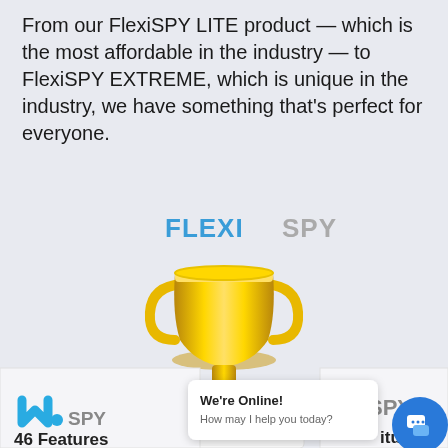From our FlexiSPY LITE product — which is the most affordable in the industry — to FlexiSPY EXTREME, which is unique in the industry, we have something that's perfect for everyone.
[Figure (illustration): FlexiSPY logo above a gold trophy cup sitting on a white podium. Below and to the left is mSpy logo with '46 Features' text. To the right is YNSPY logo. A chat popup reads 'We're Online! How may I help you today?' with a blue chat button.]